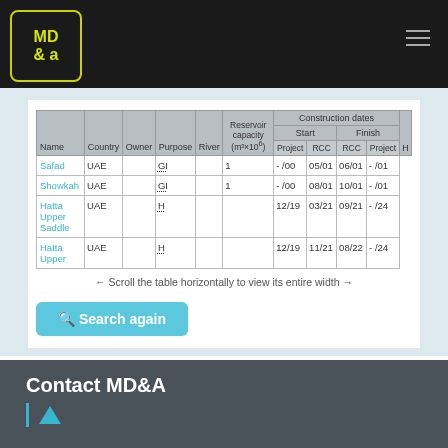MD&a
| Name | Country | Owner | Purpose | River | Reservoir capacity (m³×10⁶) | Construction dates Start RCC | Construction dates Start Project | Construction dates Finish RCC | Construction dates Finish Project | H |
| --- | --- | --- | --- | --- | --- | --- | --- | --- | --- | --- |
| Safad | UAE |  | GI |  | 1 | -/00 | 05/01 | 06/01 | -/01 |
| Showkah | UAE |  | GI |  | 1 | -/00 | 08/01 | 10/01 | -/01 |
| Hatta Upper Saddle | UAE |  | H |  |  | 12/19 | 03/21 | 09/21 | -/24 |
| Hatta Upper | UAE |  | H |  |  | 12/19 | 11/21 | 08/22 | -/24 |
← Scroll the table horizontally to view its entire width →
Search again
Contact MD&A